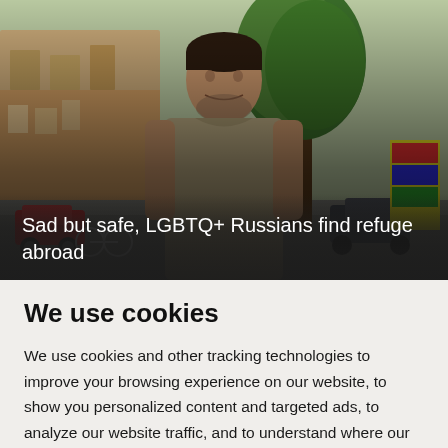[Figure (photo): A man in a beige sleeveless shirt standing outdoors on a city street in summer, with trees, parked cars, and European-style buildings visible in the background.]
Sad but safe, LGBTQ+ Russians find refuge abroad
We use cookies
We use cookies and other tracking technologies to improve your browsing experience on our website, to show you personalized content and targeted ads, to analyze our website traffic, and to understand where our visitors are coming from.